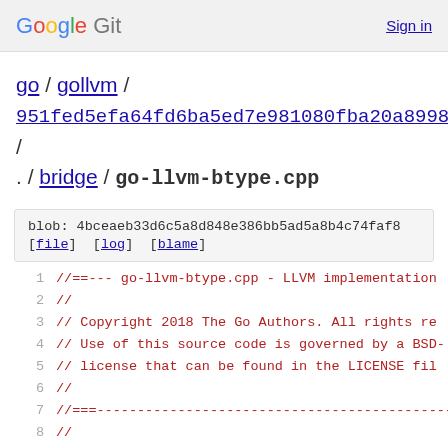Google Git   Sign in
go / gollvm / 951fed5efa64fd6ba5ed7e981080fba20a89984d / . / bridge / go-llvm-btype.cpp
blob: 4bceaeb33d6c5a8d848e386bb5ad5a8b4c74faf8
[file] [log] [blame]
1  //==--- go-llvm-btype.cpp - LLVM implementation
2  //
3  // Copyright 2018 The Go Authors. All rights re
4  // Use of this source code is governed by a BSD-
5  // license that can be found in the LICENSE fil
6  //
7  //===-----------------------------------------------
8  //
9  // Methods for class Btype and its derived clas
10 //